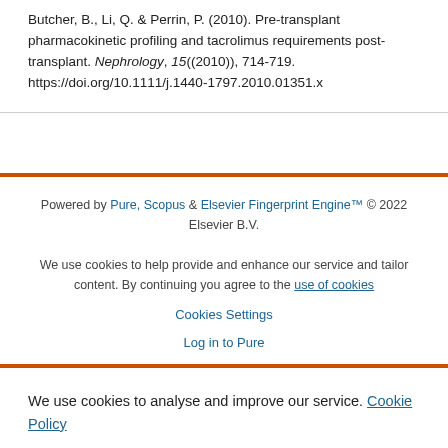Butcher, B., Li, Q. & Perrin, P. (2010). Pre-transplant pharmacokinetic profiling and tacrolimus requirements post-transplant. Nephrology, 15((2010)), 714-719. https://doi.org/10.1111/j.1440-1797.2010.01351.x
Powered by Pure, Scopus & Elsevier Fingerprint Engine™ © 2022 Elsevier B.V.
We use cookies to help provide and enhance our service and tailor content. By continuing you agree to the use of cookies
Cookies Settings
Log in to Pure
We use cookies to analyse and improve our service. Cookie Policy